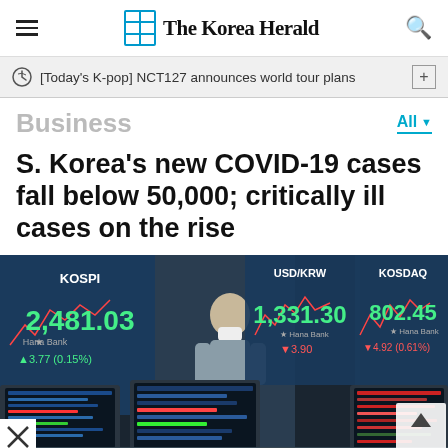The Korea Herald
[Today's K-pop] NCT127 announces world tour plans
Business
S. Korea's new COVID-19 cases fall below 50,000; critically ill cases on the rise
[Figure (photo): Trading floor at Hana Bank showing stock market screens displaying KOSPI 2,481.03 (▲3.77, 0.15%), USD/KRW 1,331.30 (▼3.90), and KOSDAQ 802.45 (▼4.92, 0.61%), with a masked worker in the background]